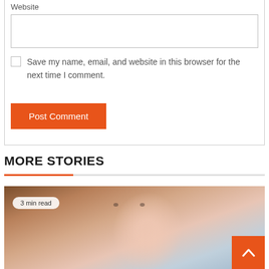Website
Save my name, email, and website in this browser for the next time I comment.
Post Comment
MORE STORIES
[Figure (photo): A blurred close-up photo of a person's face looking upward, with a '3 min read' badge overlay in the lower-left corner. An orange scroll-to-top button with a chevron/arrow is visible in the bottom-right corner.]